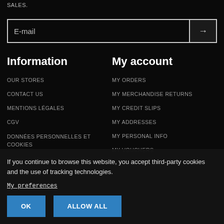SALES.
E-mail
Information
My account
OUR STORES
MY ORDERS
CONTACT US
MY MERCHANDISE RETURNS
MENTIONS LÉGALES
MY CREDIT SLIPS
CGV
MY ADDRESSES
DONNÉES PERSONNELLES ET COOKIES
MY PERSONAL INFO
MY VOUCHERS
SERVICE ASTERION UPGRADE
FORMULAIRE SAV
GESTION DES COOKIES
If you continue to browse this website, you accept third-party cookies and the use of tracking technologies.
My preferences
OK
ALLOW ALL